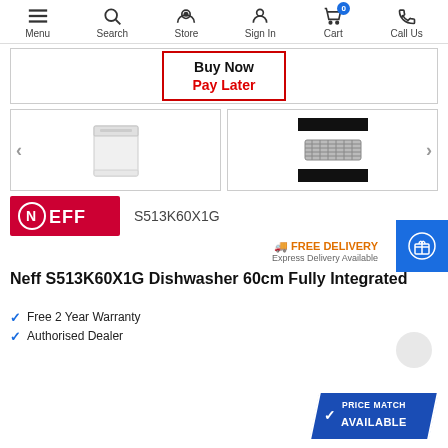Menu | Search | Store | Sign In | Cart (0) | Call Us
[Figure (screenshot): Buy Now Pay Later banner with red border]
[Figure (photo): Neff dishwasher product thumbnail image (white dishwasher)]
[Figure (photo): Second product thumbnail with black censored bars and a wire rack/grill image]
[Figure (logo): Neff brand logo on red background]
S513K60X1G
FREE DELIVERY
Express Delivery Available
Neff S513K60X1G Dishwasher 60cm Fully Integrated
Free 2 Year Warranty
Authorised Dealer
[Figure (other): Price Match Available badge in blue parallelogram shape]